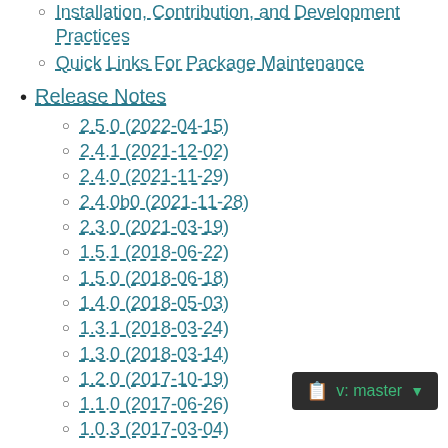Installation, Contribution, and Development Practices
Quick Links For Package Maintenance
Release Notes
2.5.0 (2022-04-15)
2.4.1 (2021-12-02)
2.4.0 (2021-11-29)
2.4.0b0 (2021-11-28)
2.3.0 (2021-03-19)
1.5.1 (2018-06-22)
1.5.0 (2018-06-18)
1.4.0 (2018-05-03)
1.3.1 (2018-03-24)
1.3.0 (2018-03-14)
1.2.0 (2017-10-19)
1.1.0 (2017-06-26)
1.0.3 (2017-03-04)
1.0.2 (2016-11-24)